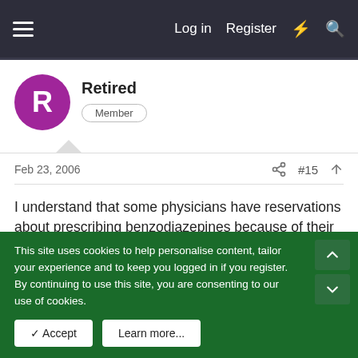Log in   Register
Retired
Member
Feb 23, 2006   #15
I understand that some physicians have reservations about prescribing benzodiazepines because of their concerns of habituation ( not exactly the same as addiction). The literature appears to be inconclusive on this issue, so one would have to work out a plan with their physician to treat one's diagnosis using the medications and techniques with which the physician
This site uses cookies to help personalise content, tailor your experience and to keep you logged in if you register.
By continuing to use this site, you are consenting to our use of cookies.